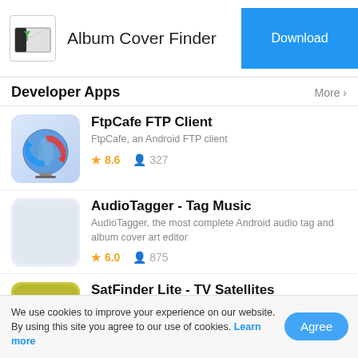Album Cover Finder
Developer Apps
FtpCafe FTP Client — FtpCafe, an Android FTP client. Rating: 8.6, Users: 327
AudioTagger - Tag Music — AudioTagger, the most complete Android audio tag and album cover art editor. Rating: 6.0, Users: 875
SatFinder Lite - TV Satellites — SatFinder Lite, an Android satellite finder.
We use cookies to improve your experience on our website. By using this site you agree to our use of cookies. Learn more